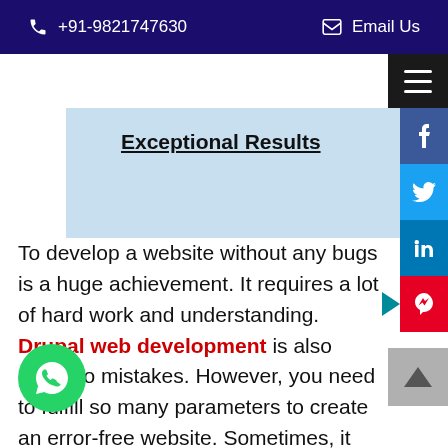+91-9821747630  Email Us
[Figure (screenshot): Hero banner image with text 'Exceptional Results' and a person holding a laptop, light blue background]
To develop a website without any bugs is a huge achievement. It requires a lot of hard work and understanding. Drupal web development is also prone to mistakes. However, you need to fulfill so many parameters to create an error-free website. Sometimes, it may happen that a developer does not realize where they have gone wrong. It may also happen that during website audit they realize that something has gone